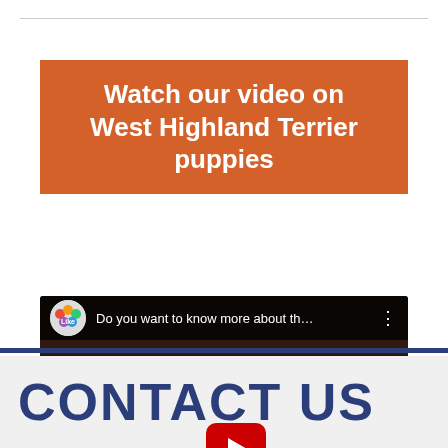Watch our video on West Highland Terrier puppies
[Figure (screenshot): YouTube video thumbnail showing a West Highland Terrier puppy on the left in a polaroid frame, and text on the right reading 'LEARN MORE ABOUT THE WEST HIGHLAND TERRIER' with paw print decorations on a dark wood background. A red YouTube play button is centered on the video.]
CONTACT US